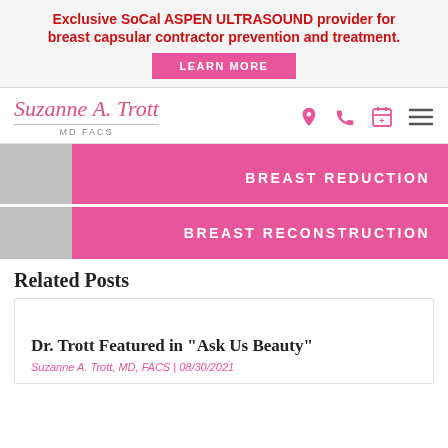Exclusive SoCal ASPEN ULTRASOUND provider for breast capsular contractor prevention and treatment.
LEARN MORE
[Figure (logo): Suzanne A. Trott MD FACS logo with navigation icons (location, phone, calendar, hamburger menu)]
BREAST REDUCTION
BREAST RECONSTRUCTION
Related Posts
Dr. Trott Featured in "Ask Us Beauty"
Suzanne A. Trott, MD, FACS | 08/30/2021